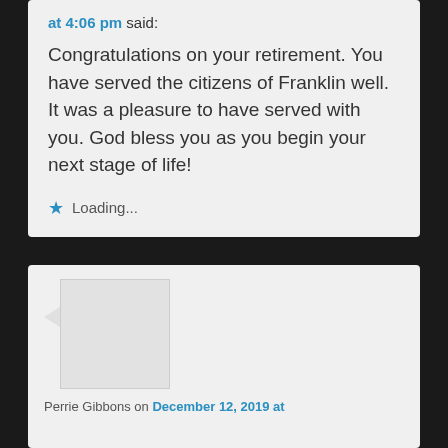at 4:06 pm said:
Congratulations on your retirement. You have served the citizens of Franklin well. It was a pleasure to have served with you. God bless you as you begin your next stage of life!
★ Loading...
[Figure (other): User avatar placeholder image (gray rectangle) with speech bubble arrow to the left]
Perrie Gibbons on December 12, 2019 at